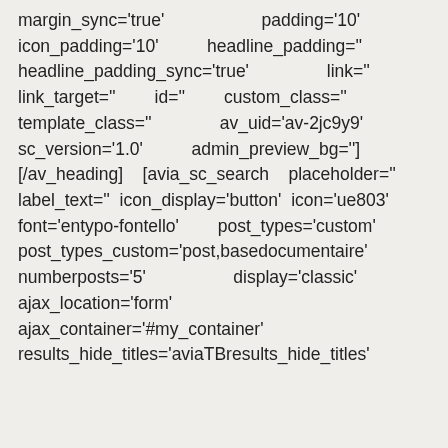margin_sync='true'                    padding='10'
icon_padding='10'          headline_padding=''
headline_padding_sync='true'                link=''
link_target=''        id=''        custom_class=''
template_class=''              av_uid='av-2jc9y9'
sc_version='1.0'          admin_preview_bg='']
[/av_heading]    [avia_sc_search    placeholder=''
label_text=''  icon_display='button'  icon='ue803'
font='entypo-fontello'        post_types='custom'
post_types_custom='post,basedocumentaire'
numberposts='5'                  display='classic'
ajax_location='form'
ajbax_container='#my_container'
results_hide_titles='aviaTBresults_hide_titles'